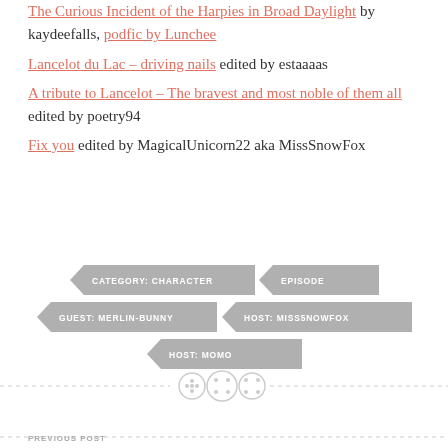The Curious Incident of the Harpies in Broad Daylight by kaydeefalls, podfic by Lunchee
Lancelot du Lac – driving nails edited by estaaaas
A tribute to Lancelot – The bravest and most noble of them all edited by poetry94
Fix you edited by MagicalUnicorn22 aka MissSnowFox
[Figure (infographic): Tag badges: CATEGORY: CHARACTER, EPISODE, GUEST: MERLIN-BUNNY, HOST: MISS5NOWFOX, HOST: MOMO]
[Figure (illustration): Decorative divider with three button/circle icons on a dashed horizontal line]